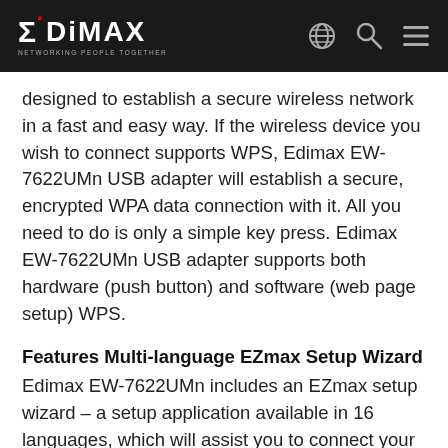EDIMAX — NETWORKING PEOPLE TOGETHER
designed to establish a secure wireless network in a fast and easy way. If the wireless device you wish to connect supports WPS, Edimax EW-7622UMn USB adapter will establish a secure, encrypted WPA data connection with it. All you need to do is only a simple key press. Edimax EW-7622UMn USB adapter supports both hardware (push button) and software (web page setup) WPS.
Features Multi-language EZmax Setup Wizard
Edimax EW-7622UMn includes an EZmax setup wizard – a setup application available in 16 languages, which will assist you to connect your new EW-7622UMn USB adapter with wireless network in no time.
Compact, Portable Design